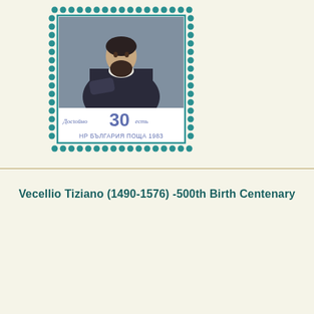[Figure (illustration): A postage stamp from Bulgaria (НР БЪЛГАРИЯ ПОЩА 1983) showing a portrait of a bearded man in dark robes, with denomination 30, decorated with ornamental Cyrillic text. The stamp has a teal/turquoise perforated border.]
Vecellio Tiziano (1490-1576) -500th Birth Centenary